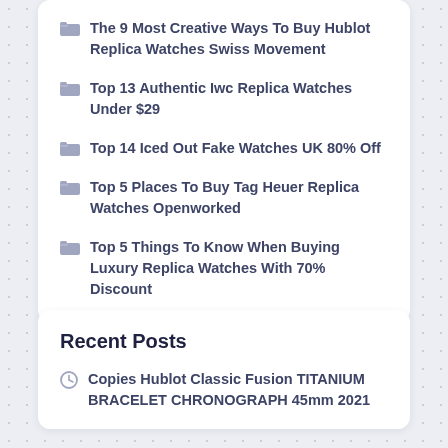The 9 Most Creative Ways To Buy Hublot Replica Watches Swiss Movement
Top 13 Authentic Iwc Replica Watches Under $29
Top 14 Iced Out Fake Watches UK 80% Off
Top 5 Places To Buy Tag Heuer Replica Watches Openworked
Top 5 Things To Know When Buying Luxury Replica Watches With 70% Discount
Recent Posts
Copies Hublot Classic Fusion TITANIUM BRACELET CHRONOGRAPH 45mm 2021